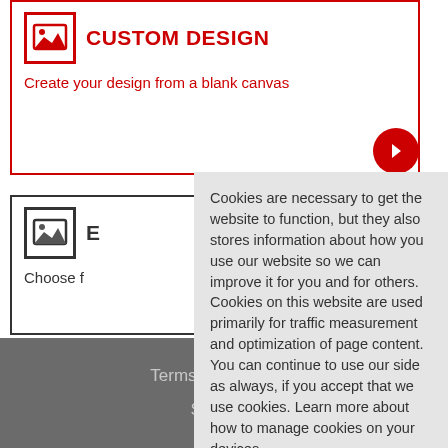CUSTOM DESIGN
Create your design from a blank canvas
E...
Choose f...
Cookies are necessary to get the website to function, but they also stores information about how you use our website so we can improve it for you and for others. Cookies on this website are used primarily for traffic measurement and optimization of page content. You can continue to use our side as always, if you accept that we use cookies. Learn more about how to manage cookies on your devices.
Accept
Terms & Conditions
Site Map